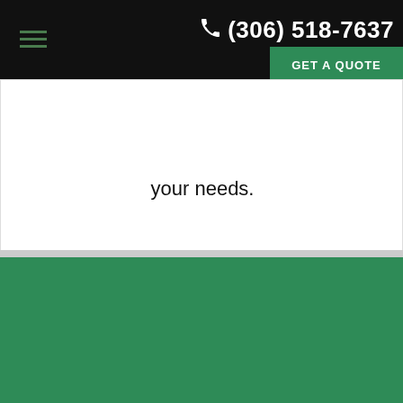(306) 518-7637 | GET A QUOTE
your needs.
[Figure (illustration): White bathtub with shower head icon on green background]
Saskatoon Bathroom Renovations
Renovations are a great way to give your bathroom a fresh look. When done right, bathroom renovations have a healthy return on investment. We offer free, on...